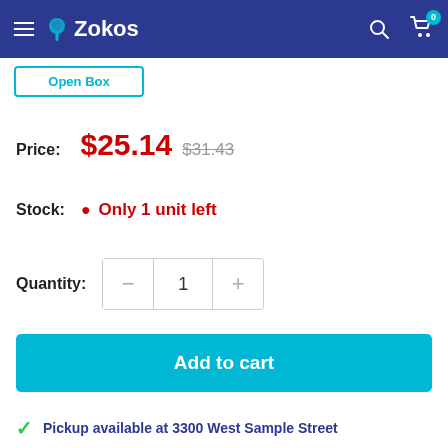Zokos
Open Box
Price: $25.14 $31.43
Stock: Only 1 unit left
Quantity: 1
Add to cart
Pickup available at 3300 West Sample Street